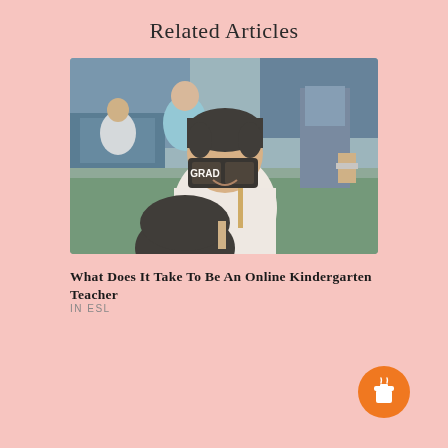Related Articles
[Figure (photo): A young Asian boy smiling and holding up novelty graduation glasses that say GRAD on the frames, surrounded by other children and adults in the background at what appears to be a kindergarten graduation event.]
What Does It Take To Be An Online Kindergarten Teacher
IN ESL